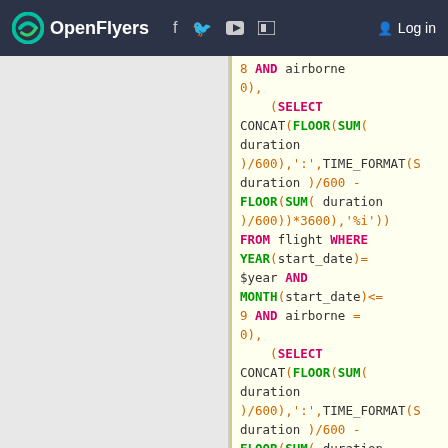OpenFlyers [logo] [social icons] Log in
[Figure (screenshot): Left gray panel of a website]
SQL code block showing SELECT with CONCAT, FLOOR, SUM, TIME_FORMAT functions for flight duration queries with WHERE YEAR, MONTH, airborne conditions